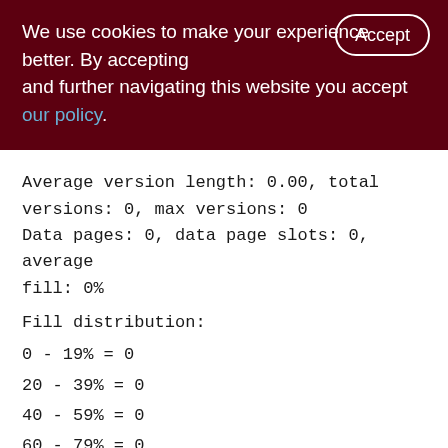We use cookies to make your experience better. By accepting and further navigating this website you accept our policy.
Average version length: 0.00, total versions: 0, max versions: 0
Data pages: 0, data page slots: 0, average fill: 0%
Fill distribution:
0 - 19% = 0
20 - 39% = 0
40 - 59% = 0
60 - 79% = 0
80 - 99% = 0
Index TMP_SHOPCART_UNQ (0)
Depth: 1, leaf buckets: 1, nodes: 0